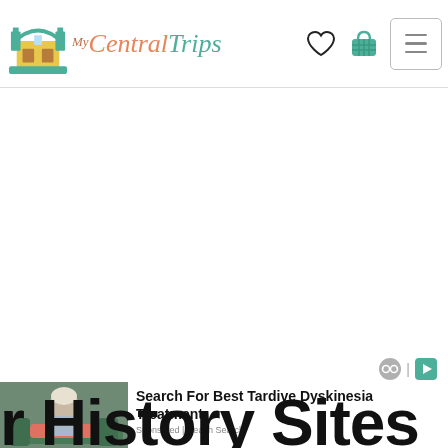MyCentralTrips — navigation bar with logo, heart icon, basket icon, and hamburger menu
[Figure (screenshot): Large white blank content area, likely an ad slot or loading area]
[Figure (infographic): Small ad network icons (eyeglass/robot icon and play-button icon) indicating sponsored content]
[Figure (photo): Photo of an elderly person seated indoors, used as thumbnail for a sponsored ad]
Search For Best Tardive Dyskinesia Treatment
Sponsored | Health Search
r History Sites